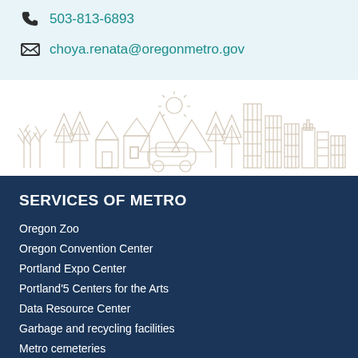503-813-6893
choya.renata@oregonmetro.gov
[Figure (illustration): Line art illustration of a city skyline with houses, trees, mountains, a car, and tall buildings in light beige/tan color on white background]
SERVICES OF METRO
Oregon Zoo
Oregon Convention Center
Portland Expo Center
Portland'5 Centers for the Arts
Data Resource Center
Garbage and recycling facilities
Metro cemeteries